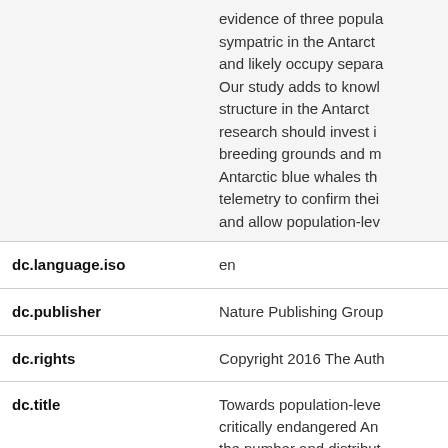| Field | Value |
| --- | --- |
| (text continuation) | evidence of three popula sympatric in the Antarct and likely occupy separa Our study adds to knowl structure in the Antarct research should invest i breeding grounds and m Antarctic blue whales th telemetry to confirm thei and allow population-lev |
| dc.language.iso | en |
| dc.publisher | Nature Publishing Group |
| dc.rights | Copyright 2016 The Auth |
| dc.title | Towards population-leve critically endangered An the number and distribut populations |
| dc.type | Article |